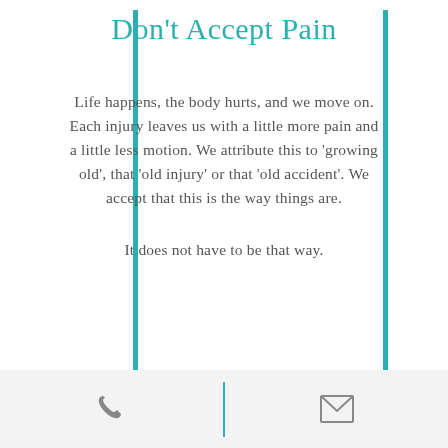Don't Accept Pain
Life happens, the body hurts, and we move on. Each injury leaves us with a little more pain and a little less motion. We attribute this to ‘growing old’, that ‘old injury’ or that ‘old accident’. We accept that this is the way things are.
It does not have to be that way.
Read More
[Figure (other): Footer bar with phone icon on left, teal vertical divider in center, and email/envelope icon on right]